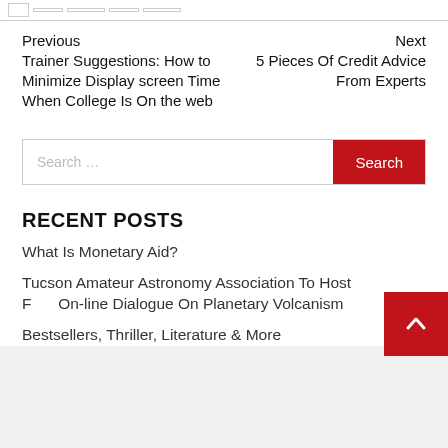[navigation tab bar]
Previous
Trainer Suggestions: How to Minimize Display screen Time When College Is On the web
Next
5 Pieces Of Credit Advice From Experts
Search ...
RECENT POSTS
What Is Monetary Aid?
Tucson Amateur Astronomy Association To Host F... On-line Dialogue On Planetary Volcanism
Bestsellers, Thriller, Literature & More